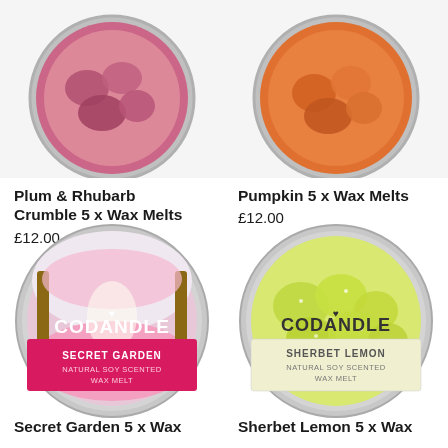[Figure (photo): Plum & Rhubarb Crumble 5 x Wax Melts product can with pink/purple wax melts (partial, cropped at top)]
[Figure (photo): Pumpkin 5 x Wax Melts product can (partial, cropped at top)]
Plum & Rhubarb Crumble 5 x Wax Melts
£12.00
Pumpkin 5 x Wax Melts
£12.00
[Figure (photo): CODANDLE Secret Garden Natural Soy Scented Wax Melt round tin with pink blossom tree tunnel imagery]
[Figure (photo): CODANDLE Sherbet Lemon Natural Soy Scented Wax Melt round tin with yellow lemon wax melts]
Secret Garden 5 x Wax
Sherbet Lemon 5 x Wax